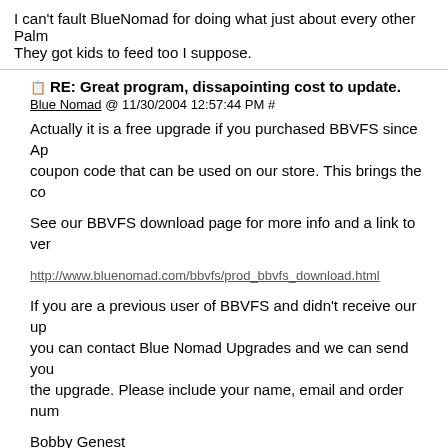I can't fault BlueNomad for doing what just about every other Palm They got kids to feed too I suppose.
RE: Great program, dissapointing cost to update.
Blue Nomad @ 11/30/2004 12:57:44 PM #
Actually it is a free upgrade if you purchased BBVFS since Ap coupon code that can be used on our store. This brings the co
See our BBVFS download page for more info and a link to ver
http://www.bluenomad.com/bbvfs/prod_bbvfs_download.html
If you are a previous user of BBVFS and didn't receive our up you can contact Blue Nomad Upgrades and we can send you the upgrade. Please include your name, email and order num
Bobby Genest
Blue Nomad Software
anything freeware available
pmdesherb @ 11/29/2004 9:14:27 PM #
I can't find a freeware taht will do job. Anybody has a suggestion?
Thanks